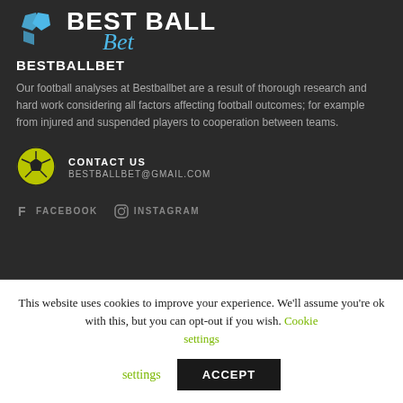[Figure (logo): BestBallBet logo with soccer ball hexagon icons in blue and brand name text]
BESTBALLBET
Our football analyses at Bestballbet are a result of thorough research and hard work considering all factors affecting football outcomes; for example from injured and suspended players to cooperation between teams.
CONTACT US
BESTBALLBET@GMAIL.COM
FACEBOOK   INSTAGRAM
This website uses cookies to improve your experience. We'll assume you're ok with this, but you can opt-out if you wish. Cookie settings  ACCEPT